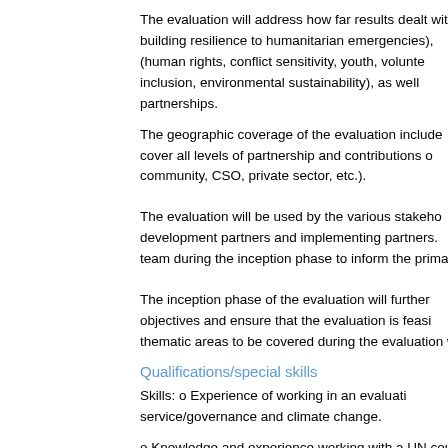The evaluation will address how far results dealt with building resilience to humanitarian emergencies), (human rights, conflict sensitivity, youth, volunteering, inclusion, environmental sustainability), as well as partnerships.
The geographic coverage of the evaluation includes cover all levels of partnership and contributions of community, CSO, private sector, etc.).
The evaluation will be used by the various stakeholders development partners and implementing partners. A team during the inception phase to inform the primary.
The inception phase of the evaluation will further objectives and ensure that the evaluation is feasible. thematic areas to be covered during the evaluation w
Qualifications/special skills
Skills: o Experience of working in an evaluation service/governance and climate change.
o Knowledge and experience working with a UN cou